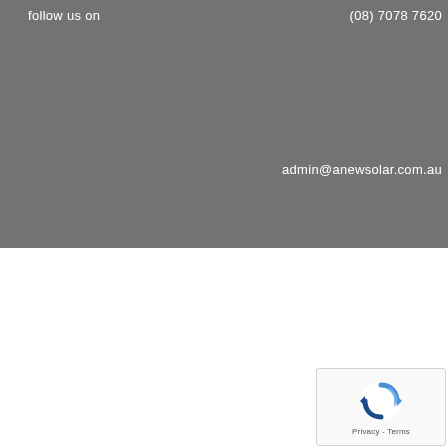follow us on
(08) 7078 7620
admin@anewsolar.com.au
[Figure (other): reCAPTCHA widget with spinning arrows logo and Privacy - Terms footer text]